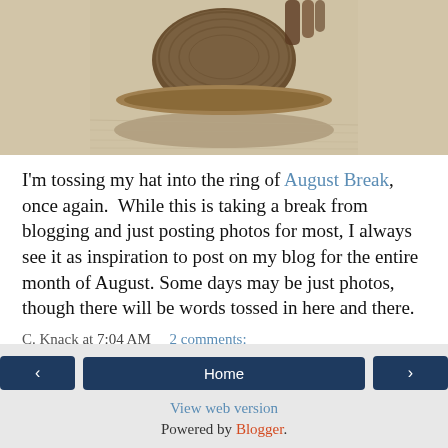[Figure (photo): A close-up photo of a straw/woven hat against a textured fabric background, sepia-toned]
I'm tossing my hat into the ring of August Break, once again.  While this is taking a break from blogging and just posting photos for most, I always see it as inspiration to post on my blog for the entire month of August.  Some days may be just photos, though there will be words tossed in here and there.
C. Knack at 7:04 AM    2 comments:
‹   Home   ›  View web version  Powered by Blogger.